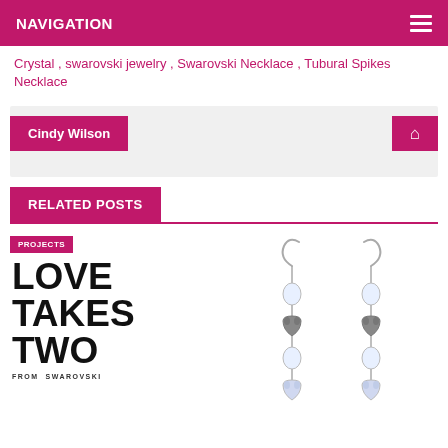NAVIGATION
Crystal , swarovski jewelry , Swarovski Necklace , Tubural Spikes Necklace
Cindy Wilson
RELATED POSTS
[Figure (other): Book/campaign image with text 'LOVE TAKES TWO FROM SWAROVSKI' with PROJECTS category tag]
[Figure (photo): Swarovski crystal heart earrings in silver, dangling style with heart-shaped beads]